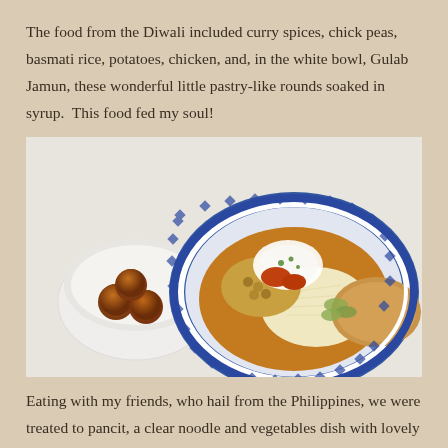The food from the Diwali included curry spices, chick peas, basmati rice, potatoes, chicken, and, in the white bowl, Gulab Jamun, these wonderful little pastry-like rounds soaked in syrup.  This food fed my soul!
[Figure (photo): A white bowl containing three round brown Gulab Jamun pastries beside a blue and white decorative plate piled with various Diwali foods including curry, chick peas, rice, and chicken.]
Eating with my friends, who hail from the Philippines, we were treated to pancit, a clear noodle and vegetables dish with lovely flavors of garlic and savory flavors of